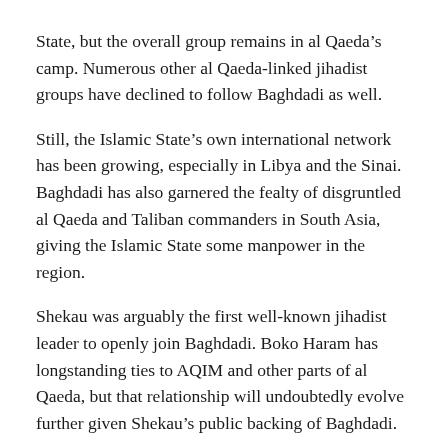State, but the overall group remains in al Qaeda's camp. Numerous other al Qaeda-linked jihadist groups have declined to follow Baghdadi as well.
Still, the Islamic State's own international network has been growing, especially in Libya and the Sinai. Baghdadi has also garnered the fealty of disgruntled al Qaeda and Taliban commanders in South Asia, giving the Islamic State some manpower in the region.
Shekau was arguably the first well-known jihadist leader to openly join Baghdadi. Boko Haram has longstanding ties to AQIM and other parts of al Qaeda, but that relationship will undoubtedly evolve further given Shekau's public backing of Baghdadi.
Ansaru, a pro-al Qaeda group in Nigeria, has increasingly sought to distance itself from Boko Haram in recent months. Ansaru and Boko Haram have frequently cooperated in operations, but have distinctly different jihadist agendas. Ansaru, like other al Qaeda